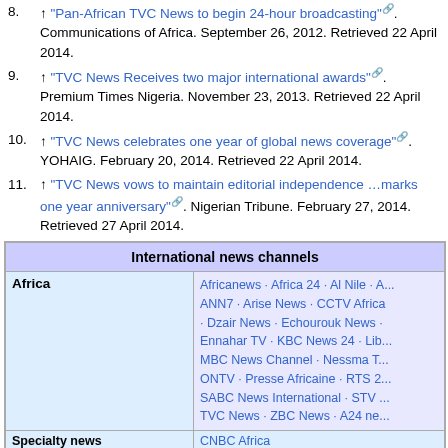8. ↑ "Pan-African TVC News to begin 24-hour broadcasting". Communications of Africa. September 26, 2012. Retrieved 22 April 2014.
9. ↑ "TVC News Receives two major international awards". Premium Times Nigeria. November 23, 2013. Retrieved 22 April 2014.
10. ↑ "TVC News celebrates one year of global news coverage". YOHAIG. February 20, 2014. Retrieved 22 April 2014.
11. ↑ "TVC News vows to maintain editorial independence …marks one year anniversary". Nigerian Tribune. February 27, 2014. Retrieved 27 April 2014.
| International news channels |
| --- |
| Africa | Africanews · Africa 24 · Al Nile · A... ANN7 · Arise News · CCTV Africa · Dzair News · Echourouk News · Ennahar TV · KBC News 24 · Lib... MBC News Channel · Nessma T... ONTV · Presse Africaine · RTS 2... SABC News International · STV... TVC News · ZBC News · A24 ne... |
| Specialty news | CNBC Africa |
|  | 10 News(Israel) · Aaj Tak · Aaj N... |